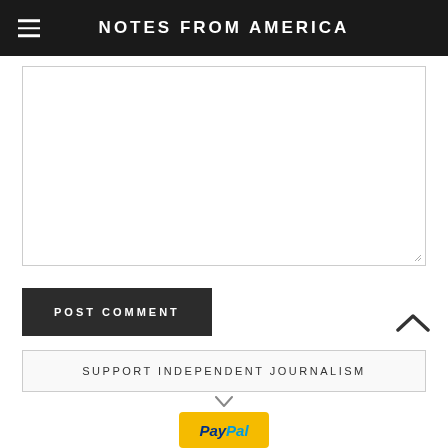NOTES FROM AMERICA
[Figure (other): Empty comment text area input box with resize handle]
POST COMMENT
SUPPORT INDEPENDENT JOURNALISM
[Figure (logo): PayPal donate button (yellow)]